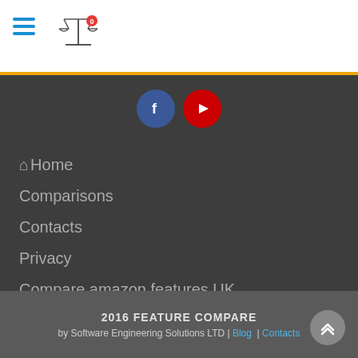Navigation header with hamburger menu and scale/compare icon
[Figure (illustration): Facebook and YouTube social media circular icon buttons]
Home
Comparisons
Contacts
Privacy
Compare amazon features UK
2016 FEATURE COMPARE by Software Engineering Solutions LTD | Blog | Contacts